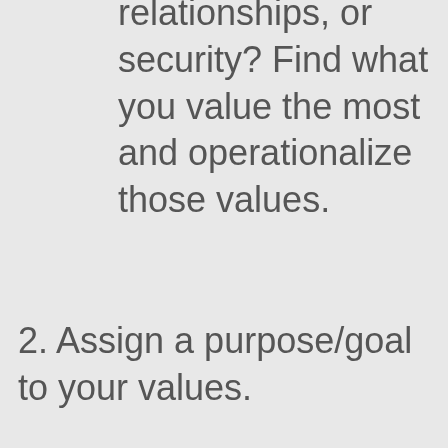relationships, or security? Find what you value the most and operationalize those values.
2. Assign a purpose/goal to your values.
3. Think of the domains where the values can be applied. Family